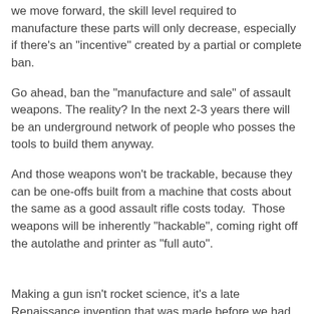we move forward, the skill level required to manufacture these parts will only decrease, especially if there’s an “incentive” created by a partial or complete ban.
Go ahead, ban the “manufacture and sale” of assault weapons. The reality? In the next 2-3 years there will be an underground network of people who posses the tools to build them anyway.
And those weapons won’t be trackable, because they can be one-offs built from a machine that costs about the same as a good assault rifle costs today.  Those weapons will be inherently “hakable”, coming right off the autolathe and printer as “full auto”.
Making a gun isn’t rocket science, it’s a late Renaissance invention that was made before we had